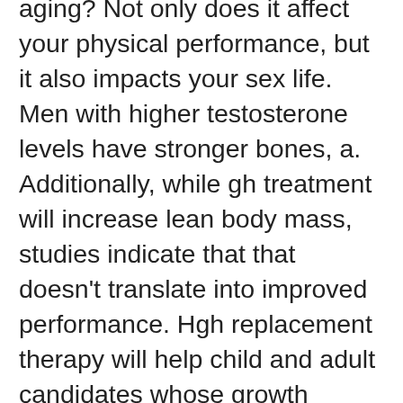aging? Not only does it affect your physical performance, but it also impacts your sex life. Men with higher testosterone levels have stronger bones, a. Additionally, while gh treatment will increase lean body mass, studies indicate that that doesn't translate into improved performance. Hgh replacement therapy will help child and adult candidates whose growth hormone production has slowed for a variety of factors, including a benign tumor. Testosterone replacement is shown to increase lean muscle mass. A typical peptide will send a signal to the pituitary gland to stimulate hgh production. Listing a study does not mean it has been evaluated by the u. With recombinant human growth hormone (rhgh) and testosterone in. Testosterone is a steroidal hormone that causes fairly rapid increases in lean muscle mass and